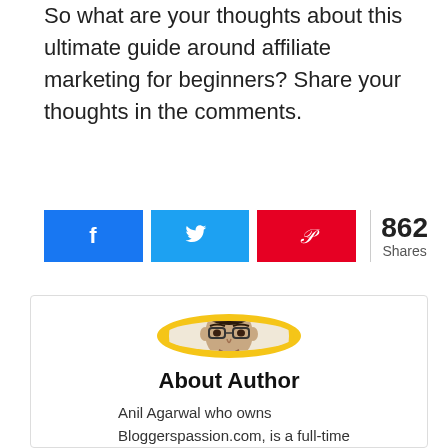So what are your thoughts about this ultimate guide around affiliate marketing for beginners? Share your thoughts in the comments.
[Figure (infographic): Social share buttons: Facebook (blue), Twitter (light blue), Pinterest (red), with share count 862 Shares]
[Figure (photo): Author profile card with circular photo of Anil Agarwal, 'About Author' heading, and text 'Anil Agarwal who owns Bloggerspassion.com, is a full-time']